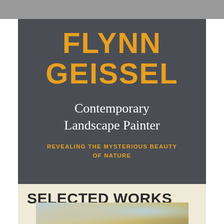FLYNN GEISSEL
Contemporary Landscape Painter
REVEALING THE MYSTERIOUS BEAUTY OF NATURE
SELECTED WORKS
[Figure (photo): Partial view of a landscape painting showing misty horizon with warm golden and cool blue tones]